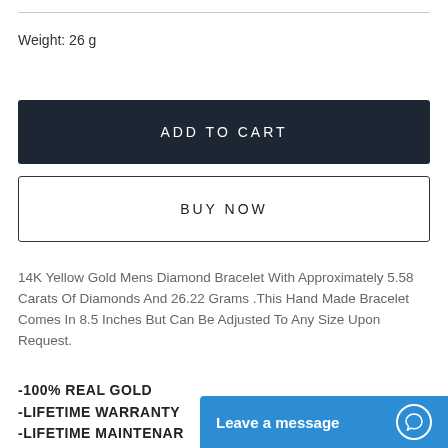Weight: 26 g
ADD TO CART
BUY NOW
14K Yellow Gold Mens Diamond Bracelet With Approximately 5.58 Carats Of Diamonds And 26.22 Grams .This Hand Made Bracelet Comes In 8.5 Inches But Can Be Adjusted To Any Size Upon Request.
-100% REAL GOLD
-LIFETIME WARRANTY
-LIFETIME MAINTENAR...
-LIFETIME UPGRADE
Leave a message